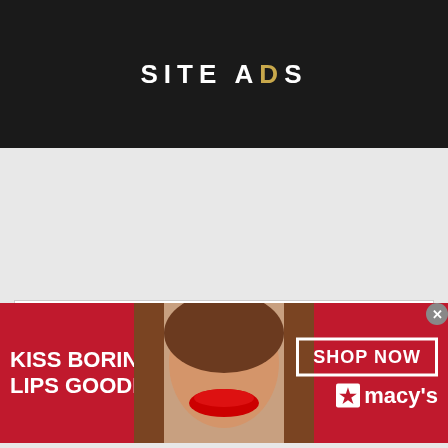SITE ADS
THEME  HOST  DMCA  PRIVACY POLICY
EMILY RATAJKOWSKI DAILY (emily-ratajkowski.us) is an UNOFFICIAL and NONPROFIT fansite dedicated to the artist Emily Ratajkowski, created by a fan for other fans. Webmiss behind this website are simply friendly fans showing appreciation and dedication towards the amazing artist. I am not Emily Ratajkowski, and I do NOT have ANY affiliation with
[Figure (photo): Red advertisement banner for Macy's showing a woman's face with red lipstick, text 'KISS BORING LIPS GOODBYE', 'SHOP NOW' button, and Macy's star logo]